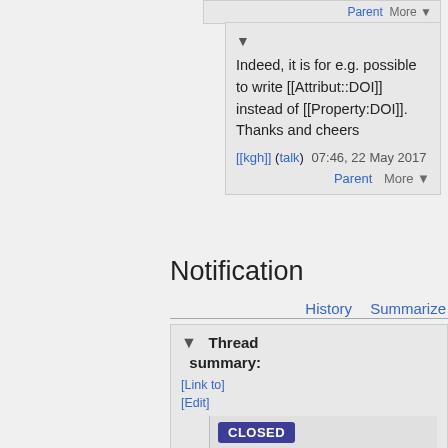Parent  More ▼
Indeed, it is for e.g. possible to write [[Attribut::DOI]] instead of [[Property:DOI]]. Thanks and cheers
[[kgh]] (talk)  07:46, 22 May 2017
Parent  More ▼
Notification
History  Summarize
Thread summary:
[Link to]
[Edit]
CLOSED
This